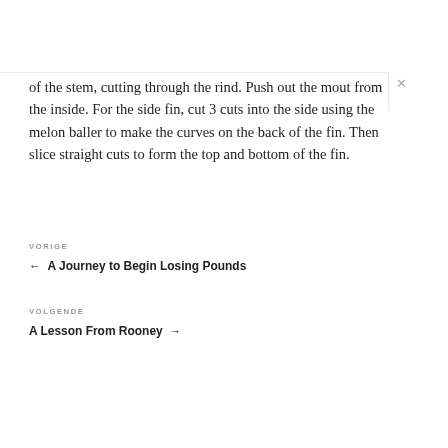of the stem, cutting through the rind. Push out the mout from the inside. For the side fin, cut 3 cuts into the side using the melon baller to make the curves on the back of the fin. Then slice straight cuts to form the top and bottom of the fin.
VORIGE
← A Journey to Begin Losing Pounds
VOLGENDE
A Lesson From Rooney →